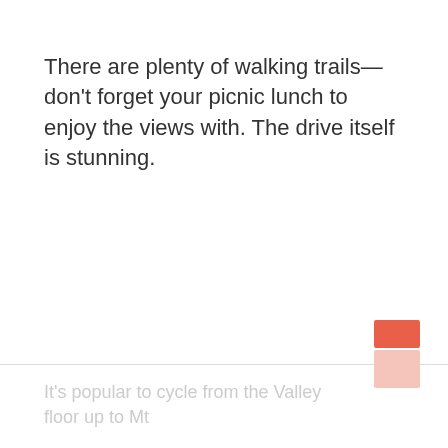There are plenty of walking trails—don't forget your picnic lunch to enjoy the views with. The drive itself is stunning.
It's popular to cycle from the Valley floor up to Mt